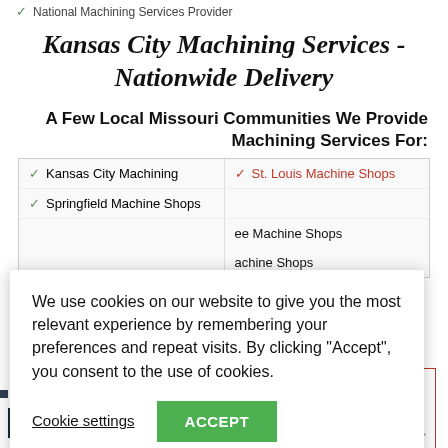National Machining Services Provider
Kansas City Machining Services - Nationwide Delivery
A Few Local Missouri Communities We Provide Machining Services For:
Kansas City Machining
St. Louis Machine Shops
Springfield Machine Shops
ee Machine Shops
Machine Shops
We use cookies on our website to give you the most relevant experience by remembering your preferences and repeat visits. By clicking "Accept", you consent to the use of cookies.
Cookie settings
ACCEPT
[Figure (logo): CNC Machining logo badge at bottom left]
[Figure (other): Rastreiter Industries award badge with trophy icon and small text listing about top machining companies]